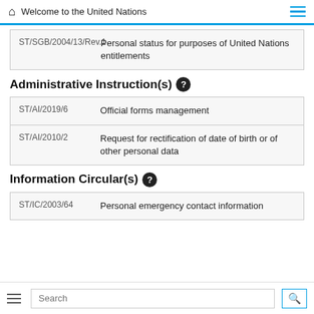Welcome to the United Nations
| Code | Title |
| --- | --- |
| ST/SGB/2004/13/Rev.1 | Personal status for purposes of United Nations entitlements |
Administrative Instruction(s)
| Code | Title |
| --- | --- |
| ST/AI/2019/6 | Official forms management |
| ST/AI/2010/2 | Request for rectification of date of birth or of other personal data |
Information Circular(s)
| Code | Title |
| --- | --- |
| ST/IC/2003/64 | Personal emergency contact information |
Search